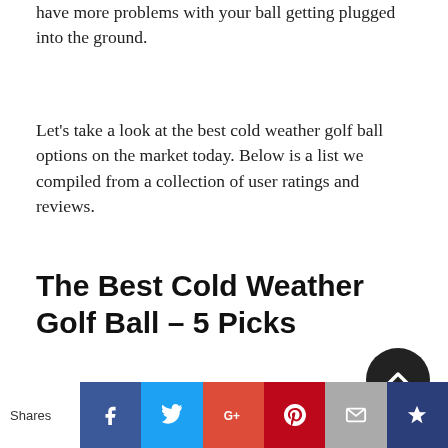have more problems with your ball getting plugged into the ground.
Let's take a look at the best cold weather golf ball options on the market today. Below is a list we compiled from a collection of user ratings and reviews.
The Best Cold Weather Golf Ball – 5 Picks
Wilson Staff Fifty Elite Golf Balls (12
Shares | Facebook | Twitter | Google+ | Pinterest | Email | Crown